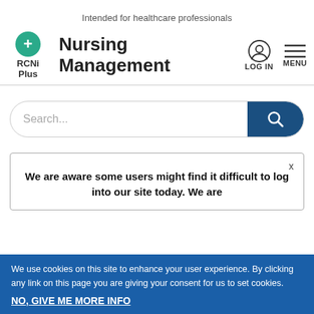Intended for healthcare professionals
[Figure (logo): RCNi Plus logo with green circle containing a plus sign, followed by text RCNi Plus]
Nursing Management
[Figure (other): LOG IN icon (person silhouette in circle) and MENU icon (three horizontal lines)]
[Figure (other): Search bar with search button on the right in dark blue]
We are aware some users might find it difficult to log into our site today. We are
We use cookies on this site to enhance your user experience. By clicking any link on this page you are giving your consent for us to set cookies.
NO, GIVE ME MORE INFO